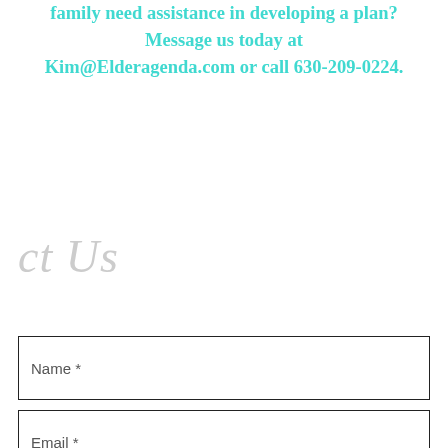family need assistance in developing a plan? Message us today at Kim@Elderagenda.com or call 630-209-0224.
ct Us
Name *
Email *
Subject